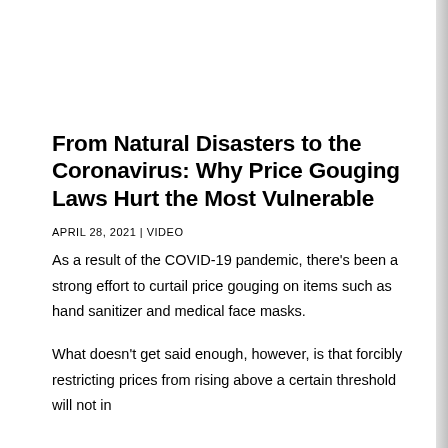From Natural Disasters to the Coronavirus: Why Price Gouging Laws Hurt the Most Vulnerable
APRIL 28, 2021 | VIDEO
As a result of the COVID-19 pandemic, there's been a strong effort to curtail price gouging on items such as hand sanitizer and medical face masks.
What doesn't get said enough, however, is that forcibly restricting prices from rising above a certain threshold will not in